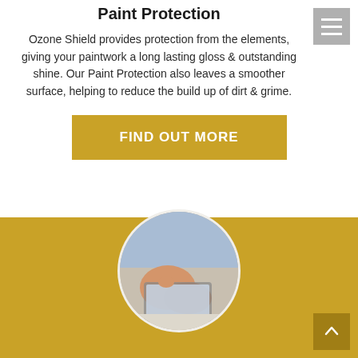Paint Protection
Ozone Shield provides protection from the elements, giving your paintwork a long lasting gloss & outstanding shine. Our Paint Protection also leaves a smoother surface, helping to reduce the build up of dirt & grime.
[Figure (other): Golden/yellow call-to-action button reading FIND OUT MORE]
[Figure (photo): Circular photo on gold background showing hands holding a smartphone/tablet, with a white circle border outline around the image]